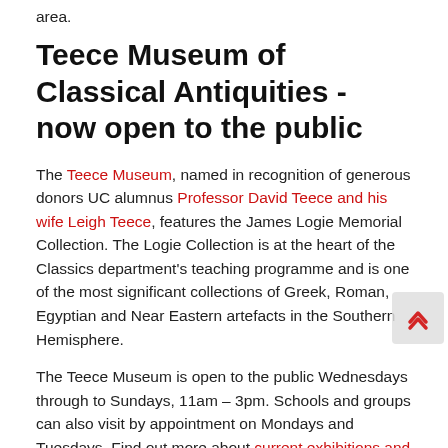area.
Teece Museum of Classical Antiquities - now open to the public
The Teece Museum, named in recognition of generous donors UC alumnus Professor David Teece and his wife Leigh Teece, features the James Logie Memorial Collection. The Logie Collection is at the heart of the Classics department's teaching programme and is one of the most significant collections of Greek, Roman, Egyptian and Near Eastern artefacts in the Southern Hemisphere.
The Teece Museum is open to the public Wednesdays through to Sundays, 11am – 3pm. Schools and groups can also visit by appointment on Mondays and Tuesdays. Find out more about current exhibitions and what's on at the Teece Museum